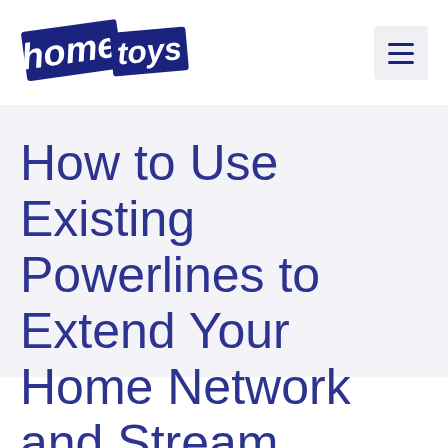[Figure (logo): HomeToys logo: 'home' in white italic text on dark navy blue block, 'toys' in dark navy with a navy square background, tilted/rotated blocks style]
How to Use Existing Powerlines to Extend Your Home Network and Stream Media